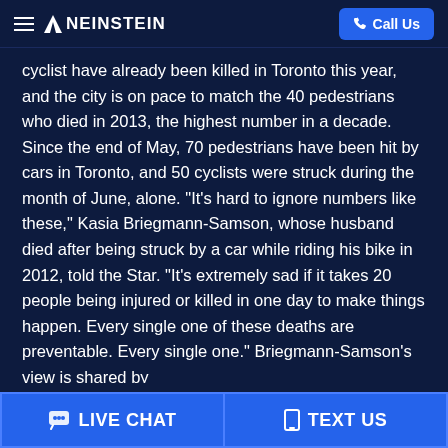NEINSTEIN | Call Us
cyclist have already been killed in Toronto this year, and the city is on pace to match the 40 pedestrians who died in 2013, the highest number in a decade. Since the end of May, 70 pedestrians have been hit by cars in Toronto, and 50 cyclists were struck during the month of June, alone. "It's hard to ignore numbers like these," Kasia Briegmann-Samson, whose husband died after being struck by a car while riding his bike in 2012, told the Star. "It's extremely sad if it takes 20 people being injured or killed in one day to make things happen. Every single one of these deaths are preventable. Every single one." Briegmann-Samson's view is shared by
LIVE CHAT | TEXT US